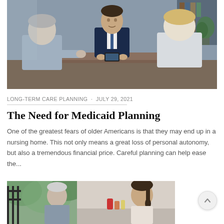[Figure (photo): Two older adults (seen from behind) sitting across a desk from a professional man in a suit, in an office setting — a financial or legal consultation scene.]
LONG-TERM CARE PLANNING · JULY 29, 2021
The Need for Medicaid Planning
One of the greatest fears of older Americans is that they may end up in a nursing home. This not only means a great loss of personal autonomy, but also a tremendous financial price. Careful planning can help ease the...
[Figure (photo): An older woman and a younger woman with a ponytail sitting together, possibly in a care or consultation setting with bottles on a table.]